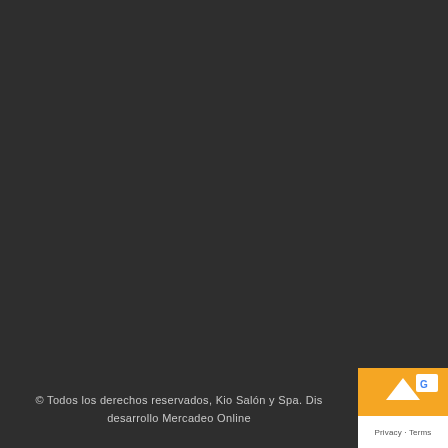© Todos los derechos reservados, Kio Salón y Spa. Dis desarrollo Mercadeo Online
[Figure (other): Scroll-to-top widget overlay in bottom-right corner with orange background, upward arrow, and Privacy - Terms text]